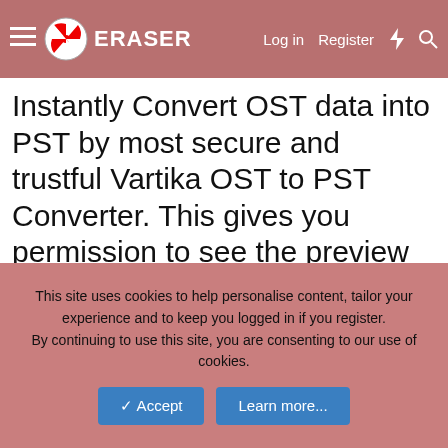ERASER | Log in | Register
Apr 5, 2019  #4
Instantly Convert OST data into PST by most secure and trustful Vartika OST to PST Converter. This gives you permission to see the preview of emails and then convert OST emails, inbox folder, sent, draft, junk mails, deleted folder items, contact and calendar into EML, EMLX, vCal
This site uses cookies to help personalise content, tailor your experience and to keep you logged in if you register.
By continuing to use this site, you are consenting to our use of cookies.